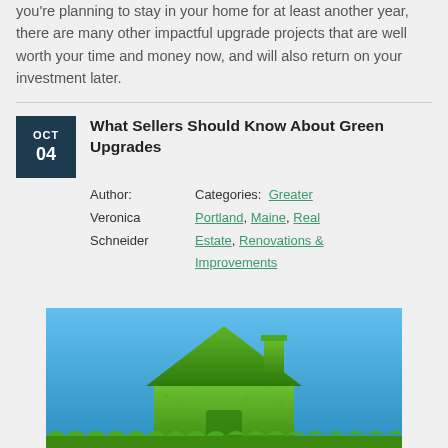you're planning to stay in your home for at least another year, there are many other impactful upgrade projects that are well worth your time and money now, and will also return on your investment later.
What Sellers Should Know About Green Upgrades
Author: Veronica Schneider   Categories: Greater Portland, Maine, Real Estate, Renovations & Improvements
[Figure (photo): A green grass-covered house silhouette on a blue sky background]